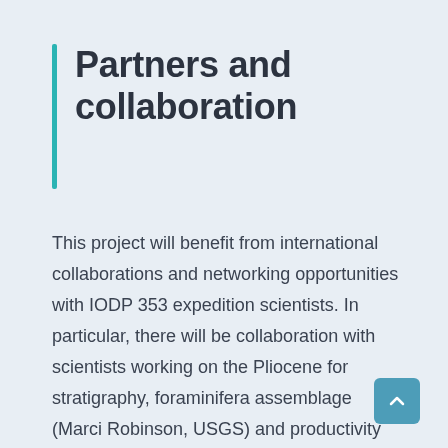Partners and collaboration
This project will benefit from international collaborations and networking opportunities with IODP 353 expedition scientists. In particular, there will be collaboration with scientists working on the Pliocene for stratigraphy, foraminifera assemblage (Marci Robinson, USGS) and productivity proxies (Emmeline Gray, OU).